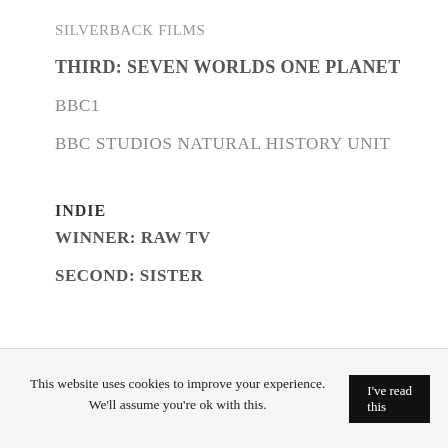SILVERBACK FILMS
THIRD: SEVEN WORLDS ONE PLANET
BBC1
BBC STUDIOS NATURAL HISTORY UNIT
INDIE
WINNER: RAW TV
SECOND: SISTER
This website uses cookies to improve your experience. We'll assume you're ok with this.
I've read this